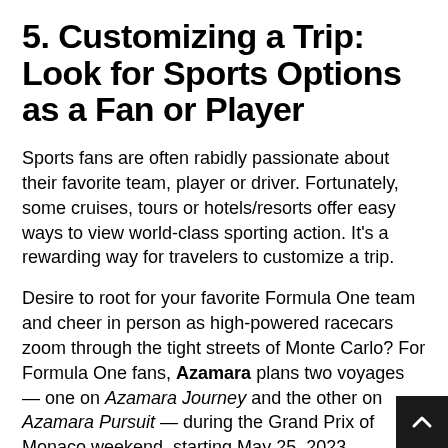5. Customizing a Trip: Look for Sports Options as a Fan or Player
Sports fans are often rabidly passionate about their favorite team, player or driver. Fortunately, some cruises, tours or hotels/resorts offer easy ways to view world-class sporting action. It's a rewarding way for travelers to customize a trip.
Desire to root for your favorite Formula One team and cheer in person as high-powered racecars zoom through the tight streets of Monte Carlo? For Formula One fans, Azamara plans two voyages — one on Azamara Journey and the other on Azamara Pursuit — during the Grand Prix of Monaco weekend, starting May 25, 2023.
Beyond watching the Formula One racing action first-hand, guests on those voyages can explore more of the Mediterranean too. The itinerary includes Civitavecchia (Rome) and Livorno (Florence), Italy; Marseille, France; a Monaco, Palma de Mallorca, Ibiza and Barcelona, Spain;